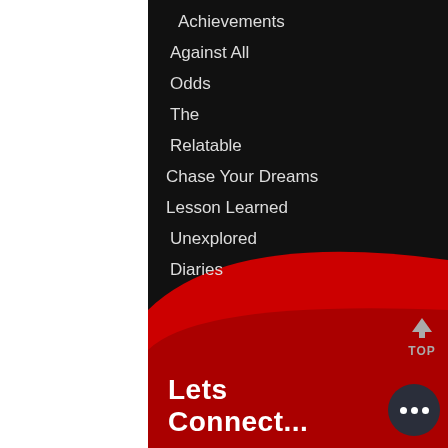Achievements
Against All
Odds
The
Relatable
Chase Your Dreams
Lesson Learned
Unexplored
Diaries
Lets Connect...